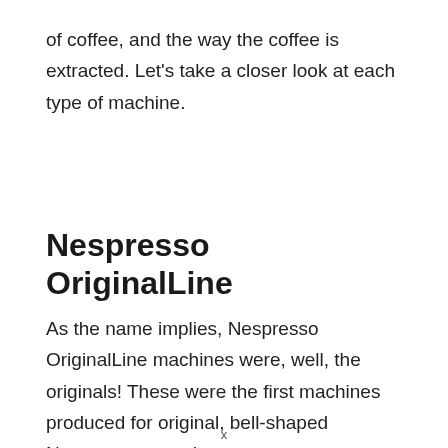of coffee, and the way the coffee is extracted. Let's take a closer look at each type of machine.
Nespresso OriginalLine
As the name implies, Nespresso OriginalLine machines were, well, the originals! These were the first machines produced for original, bell-shaped Nespresso capsules.
How Do OriginalLine Nespresso Machines Brew Coffee?
x